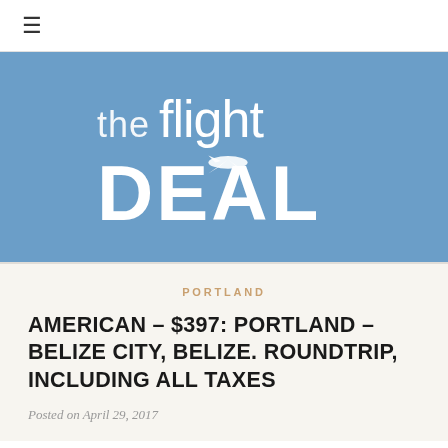☰
[Figure (logo): The Flight Deal logo — white stylized text 'the flight DEAL' with airplane silhouette on blue background]
PORTLAND
AMERICAN – $397: PORTLAND – BELIZE CITY, BELIZE. ROUNDTRIP, INCLUDING ALL TAXES
Posted on April 29, 2017